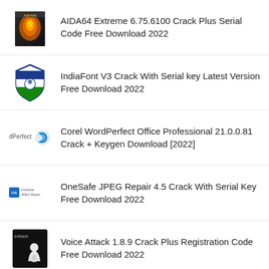AIDA64 Extreme 6.75.6100 Crack Plus Serial Code Free Download 2022
IndiaFont V3 Crack With Serial key Latest Version Free Download 2022
Corel WordPerfect Office Professional 21.0.0.81 Crack + Keygen Download [2022]
OneSafe JPEG Repair 4.5 Crack With Serial Key Free Download 2022
Voice Attack 1.8.9 Crack Plus Registration Code Free Download 2022